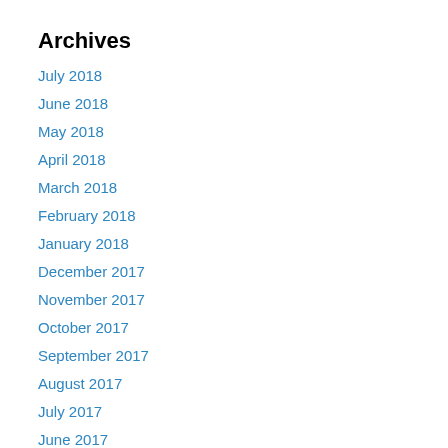Archives
July 2018
June 2018
May 2018
April 2018
March 2018
February 2018
January 2018
December 2017
November 2017
October 2017
September 2017
August 2017
July 2017
June 2017
May 2017
April 2017
March 2017
February 2017